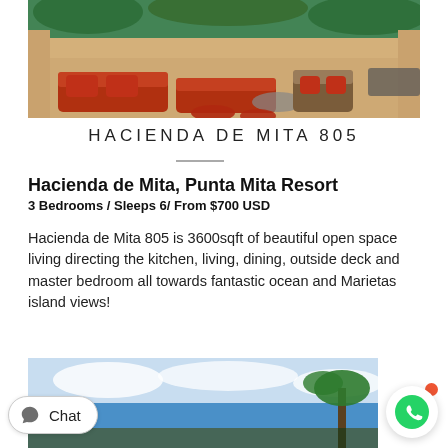[Figure (photo): Luxury resort terrace with orange sofa seating, tropical plants, and ocean view in the background]
HACIENDA DE MITA 805
Hacienda de Mita, Punta Mita Resort
3 Bedrooms / Sleeps 6/ From $700 USD
Hacienda de Mita 805 is 3600sqft of beautiful open space living directing the kitchen, living, dining, outside deck and master bedroom all towards fantastic ocean and Marietas island views!
[Figure (photo): Coastal view with ocean, clouds, and palm trees]